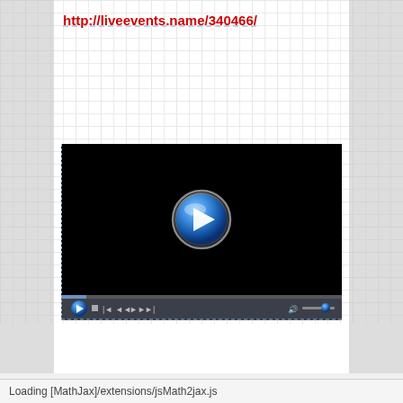http://liveevents.name/340466/
[Figure (screenshot): Video player with black screen showing a blue play button in the center, with media controls bar at the bottom]
Loading [MathJax]/extensions/jsMath2jax.js